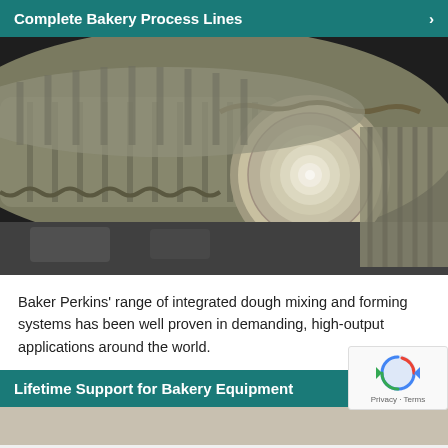Complete Bakery Process Lines
[Figure (photo): Close-up photograph of industrial dough mixing machinery showing rolled dough with a spiral cross-section pattern and ridged conveyor belt components.]
Baker Perkins' range of integrated dough mixing and forming systems has been well proven in demanding, high-output applications around the world.
Lifetime Support for Bakery Equipment